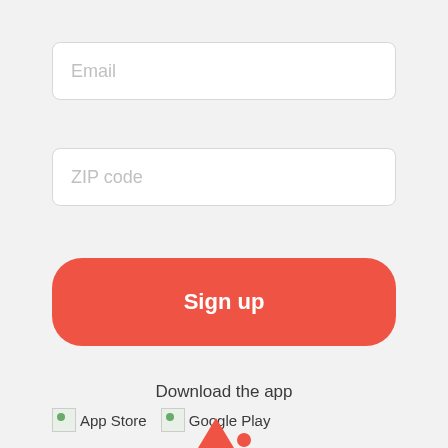Email
ZIP code
Sign up
Download the app
[Figure (logo): App Store badge placeholder image with alt text 'App Store']
[Figure (logo): Google Play badge placeholder image with alt text 'Google Play']
[Figure (logo): Partial red logo/icon visible at bottom center of page]